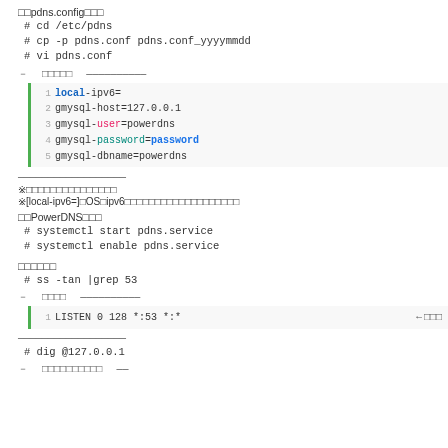□□pdns.config□□□
# cd /etc/pdns
# cp -p pdns.conf pdns.conf_yyyymmdd
# vi pdns.conf
— □□□□□ ——————————
[Figure (screenshot): Code block showing pdns.conf lines: 1 local-ipv6= 2 gmysql-host=127.0.0.1 3 gmysql-user=powerdns 4 gmysql-password=password 5 gmysql-dbname=powerdns]
——————————————————
※□□□□□□□□□□□□□□□
※[local-ipv6=]□OS□ipv6□□□□□□□□□□□□□□□□□□□
□□PowerDNS□□□
# systemctl start pdns.service
# systemctl enable pdns.service
□□□□□□
# ss -tan |grep 53
— □□□□ ——————————
[Figure (screenshot): Code block line 1: LISTEN 0 128 *:53 *:*]
——————————————————
# dig @127.0.0.1
— □□□□□□□□□□ ——